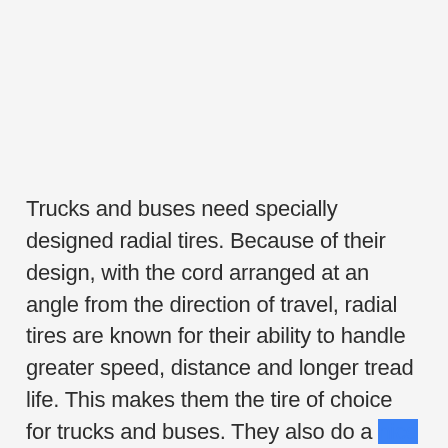Trucks and buses need specially designed radial tires. Because of their design, with the cord arranged at an angle from the direction of travel, radial tires are known for their ability to handle greater speed, distance and longer tread life. This makes them the tire of choice for trucks and buses. They also do a